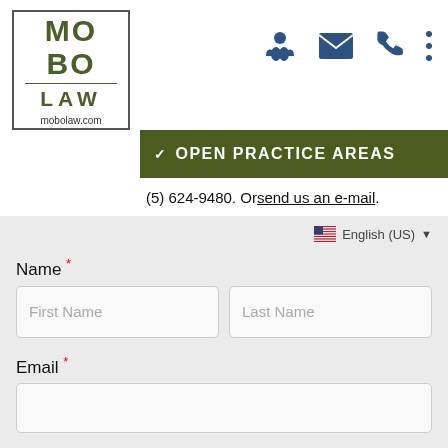[Figure (logo): MOBO LAW logo with dark olive green text in a bordered box, mobolaw.com]
[Figure (infographic): Three icon buttons: map/person icon, envelope icon, phone icon, and three-dots menu icon]
OPEN PRACTICE AREAS
(5) 624-9480. Or send us an e-mail.
English (US)
Name *
First Name
Last Name
Email *
Phone Number *
(000) 000-0000